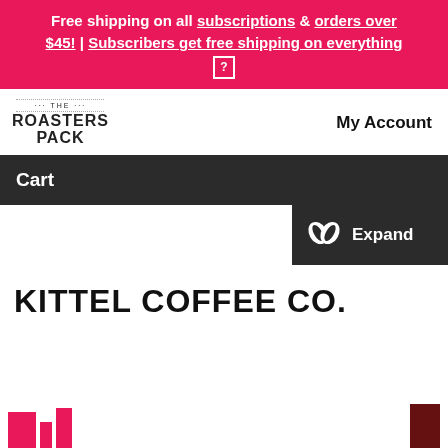Free shipping on all subscriptions & orders over $45! | Subscribers get free shipping on everything ?
[Figure (logo): The Roasters Pack logo — stacked text with dotted border lines]
My Account
Cart
[Figure (other): Expand button with coffee bean icon on dark background]
KITTEL COFFEE CO.
[Figure (photo): Partial product image at bottom of page showing red/dark maroon colored bars]